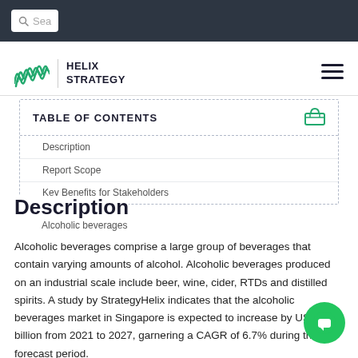[Figure (screenshot): Navigation bar with search box at top of webpage]
[Figure (logo): Helix Strategy logo with wave mark and text HELIX STRATEGY]
TABLE OF CONTENTS
Description
Report Scope
Key Benefits for Stakeholders
Alcoholic beverages
Description
Alcoholic beverages comprise a large group of beverages that contain varying amounts of alcohol. Alcoholic beverages produced on an industrial scale include beer, wine, cider, RTDs and distilled spirits. A study by StrategyHelix indicates that the alcoholic beverages market in Singapore is expected to increase by US$ 1.69 billion from 2021 to 2027, garnering a CAGR of 6.7% during the forecast period.
The report provides up to date market size data for period 2017